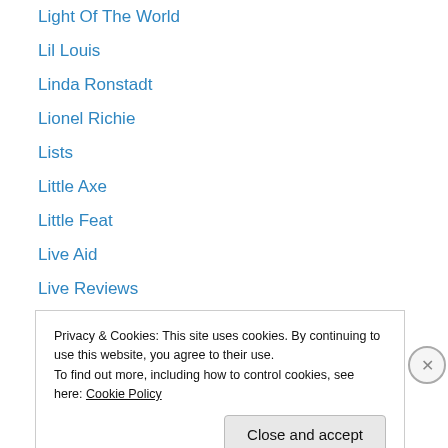Light Of The World
Lil Louis
Linda Ronstadt
Lionel Richie
Lists
Little Axe
Little Feat
Live Aid
Live Reviews
Loose Tubes
Lou Reed
Love and Money
Lyle Mays
Privacy & Cookies: This site uses cookies. By continuing to use this website, you agree to their use. To find out more, including how to control cookies, see here: Cookie Policy
Close and accept